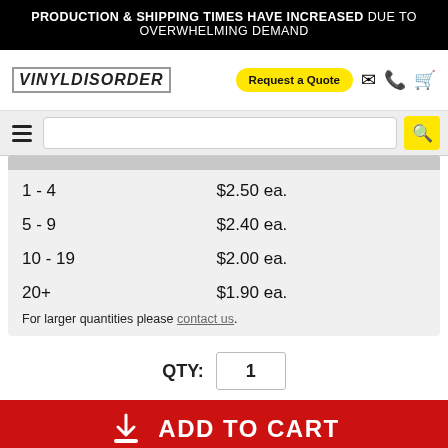PRODUCTION & SHIPPING TIMES HAVE INCREASED DUE TO OVERWHELMING DEMAND
[Figure (logo): VinylDisorder logo text in stylized blocky font]
Request a Quote
| Quantity | Price |
| --- | --- |
| 1 - 4 | $2.50 ea. |
| 5 - 9 | $2.40 ea. |
| 10 - 19 | $2.00 ea. |
| 20+ | $1.90 ea. |
For larger quantities please contact us.
QTY: 1
ADD TO CART